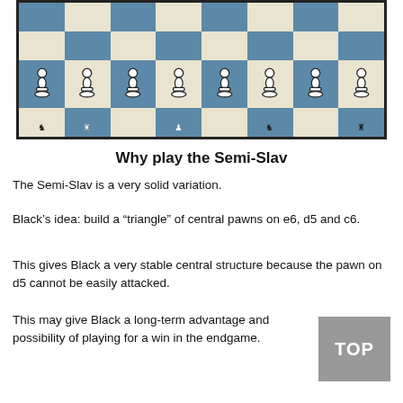[Figure (illustration): Chess board showing white pawns on the 7th rank with dark and light squares. Bottom portion of board visible with white pawn pieces and partially visible back rank pieces.]
Why play the Semi-Slav
The Semi-Slav is a very solid variation.
Black’s idea: build a “triangle” of central pawns on e6, d5 and c6.
This gives Black a very stable central structure because the pawn on d5 cannot be easily attacked.
This may give Black a long-term advantage and possibility of playing for a win in the endgame.